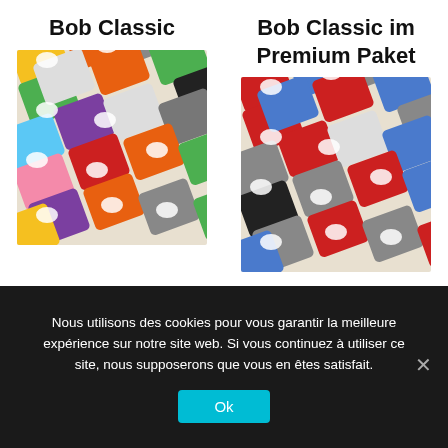Bob Classic
Bob Classic im Premium Paket
[Figure (photo): Array of colorful floppy disk-like devices in various colors: yellow, orange, green, purple, blue, pink, grey, white, black, red]
[Figure (photo): Array of floppy disk-like devices predominantly in red, blue, grey, and black colors]
Nous utilisons des cookies pour vous garantir la meilleure expérience sur notre site web. Si vous continuez à utiliser ce site, nous supposerons que vous en êtes satisfait.